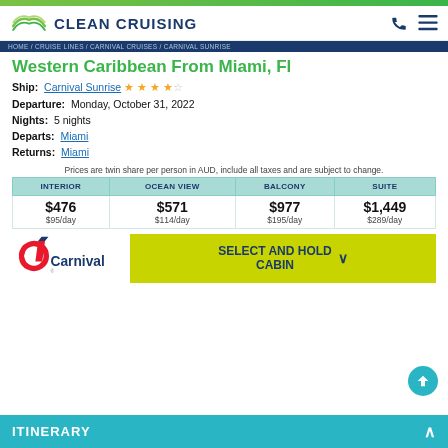CLEAN CRUISING
HOME / CRUISE LINES / CARNIVAL CRUISES / CARNIVAL SUNRISE
Western Caribbean From Miami, Fl
Ship: Carnival Sunrise ★★★☆☆
Departure: Monday, October 31, 2022
Nights: 5 nights
Departs: Miami
Returns: Miami
Prices are twin share per person in AUD, include all taxes and are subject to change.
| INTERIOR | OCEAN VIEW | BALCONY | SUITE |
| --- | --- | --- | --- |
| $476
$95/day | $571
$114/day | $977
$195/day | $1,449
$289/day |
[Figure (logo): Carnival cruise line logo]
SELECT AND HOLD CABIN
ITINERARY